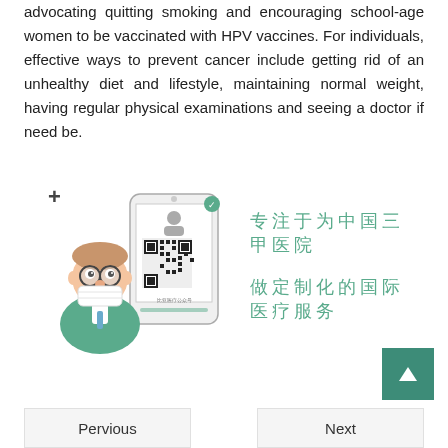advocating quitting smoking and encouraging school-age women to be vaccinated with HPV vaccines. For individuals, effective ways to prevent cancer include getting rid of an unhealthy diet and lifestyle, maintaining normal weight, having regular physical examinations and seeing a doctor if need be.
[Figure (illustration): Cartoon illustration of a doctor in scrubs with glasses and a surgical mask, next to a smartphone showing a QR code, plus Chinese text: 专注于为中国三甲医院做定制化的国际医疗服务]
Pervious    Next